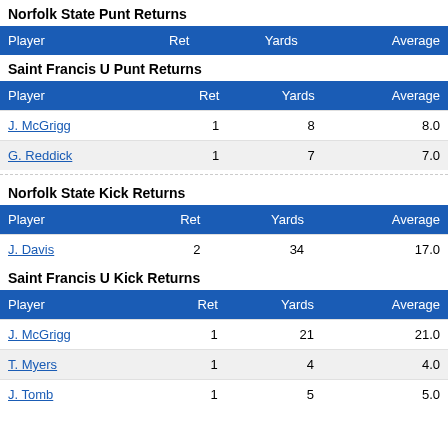Norfolk State Punt Returns
| Player | Ret | Yards | Average |
| --- | --- | --- | --- |
Saint Francis U Punt Returns
| Player | Ret | Yards | Average |
| --- | --- | --- | --- |
| J. McGrigg | 1 | 8 | 8.0 |
| G. Reddick | 1 | 7 | 7.0 |
Norfolk State Kick Returns
| Player | Ret | Yards | Average |
| --- | --- | --- | --- |
| J. Davis | 2 | 34 | 17.0 |
Saint Francis U Kick Returns
| Player | Ret | Yards | Average |
| --- | --- | --- | --- |
| J. McGrigg | 1 | 21 | 21.0 |
| T. Myers | 1 | 4 | 4.0 |
| J. Tomb | 1 | 5 | 5.0 |